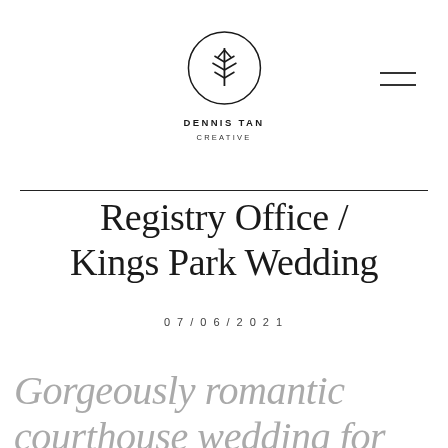[Figure (logo): Dennis Tan Creative logo — a stylized tree/branch inside a circle, with text 'DENNIS TAN' and 'CREATIVE' below]
[Figure (other): Hamburger menu icon — two horizontal parallel lines]
Registry Office / Kings Park Wedding
07/06/2021
Gorgeously romantic courthouse wedding for